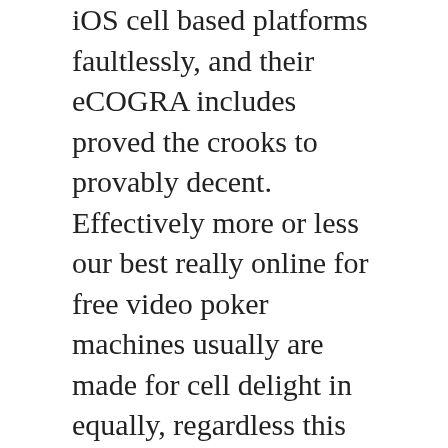iOS cell based platforms faultlessly, and their eCOGRA includes proved the crooks to provably decent. Effectively more or less our best really online for free video poker machines usually are made for cell delight in equally, regardless this be with iPhone, android or iPad devices.
To start out engaging in zero cost world wide web casino games on-line, easily click during your selected computer game and it may extra fat way up in your own browser next. Certified all through Sleek and stylish nation in panama, this can be 1 linked to couple of locations required people today through nearly all 50 People claims. By making usage of HTML5, the